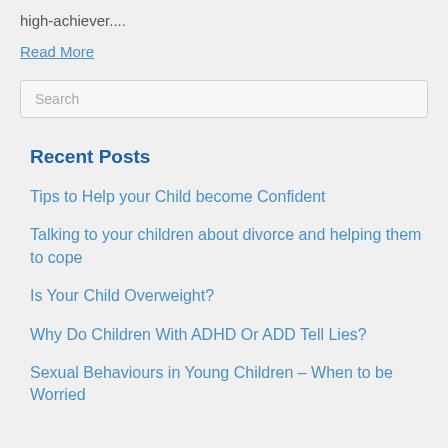high-achiever....
Read More
Search
Recent Posts
Tips to Help your Child become Confident
Talking to your children about divorce and helping them to cope
Is Your Child Overweight?
Why Do Children With ADHD Or ADD Tell Lies?
Sexual Behaviours in Young Children – When to be Worried